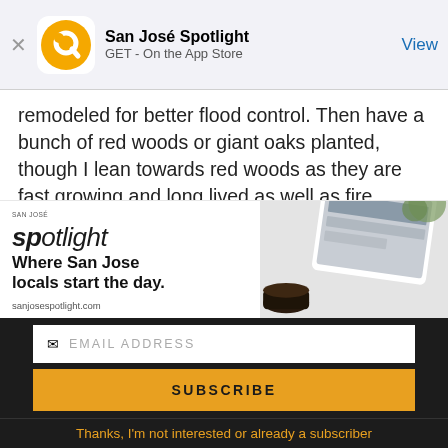San José Spotlight
GET - On the App Store
View
remodeled for better flood control. Then have a bunch of red woods or giant oaks planted, though I lean towards red woods as they are fast growing and long lived as well as fire resistant.
[Figure (infographic): San José Spotlight ad banner with logo, tagline 'Where San Jose locals start the day.' and sanjosespotlight.com URL, alongside a photo of a tablet and coffee cup]
EMAIL ADDRESS
SUBSCRIBE
Thanks, I'm not interested or already a subscriber